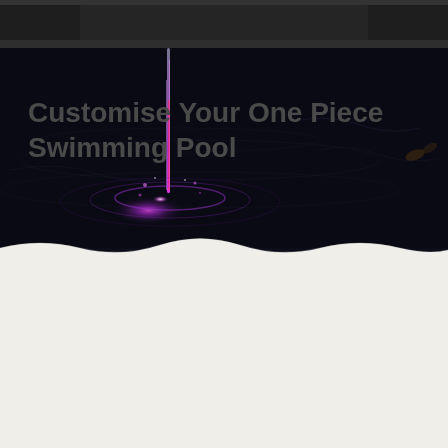[Figure (photo): Dark swimming pool at night with a water stream falling into it creating a bright purple/magenta light reflection on the water surface. The top portion shows a dark pool edge structure and the pool water is very dark with ripples.]
Customise Your One Piece Swimming Pool